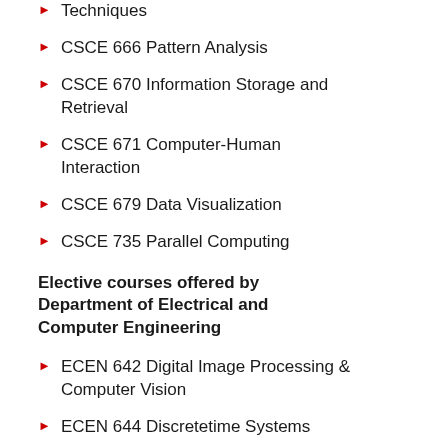Techniques
CSCE 666 Pattern Analysis
CSCE 670 Information Storage and Retrieval
CSCE 671 Computer-Human Interaction
CSCE 679 Data Visualization
CSCE 735 Parallel Computing
Elective courses offered by Department of Electrical and Computer Engineering
ECEN 642 Digital Image Processing & Computer Vision
ECEN 644 Discretetime Systems
ECEN 649 Pattern Recognition